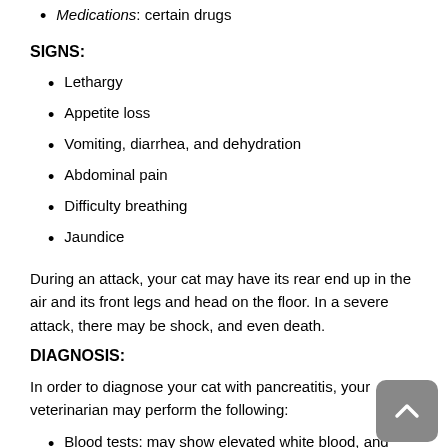Medications: certain drugs
SIGNS:
Lethargy
Appetite loss
Vomiting, diarrhea, and dehydration
Abdominal pain
Difficulty breathing
Jaundice
During an attack, your cat may have its rear end up in the air and its front legs and head on the floor. In a severe attack, there may be shock, and even death.
DIAGNOSIS:
In order to diagnose your cat with pancreatitis, your veterinarian may perform the following:
Blood tests: may show elevated white blood, and enzyme levels
Urinalysis
X-rays